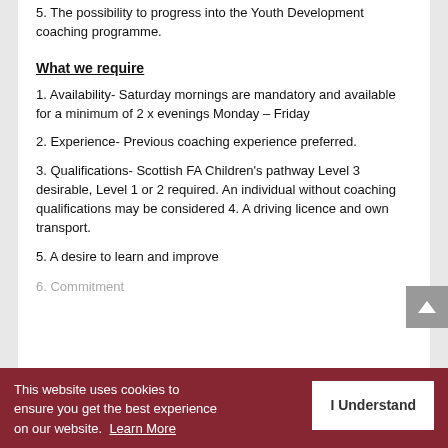5. The possibility to progress into the Youth Development coaching programme.
What we require
1. Availability- Saturday mornings are mandatory and available for a minimum of 2 x evenings Monday – Friday
2. Experience- Previous coaching experience preferred.
3. Qualifications- Scottish FA Children's pathway Level 3 desirable, Level 1 or 2 required. An individual without coaching qualifications may be considered 4. A driving licence and own transport.
5. A desire to learn and improve
6. Commitment
This website uses cookies to ensure you get the best experience on our website. Learn More